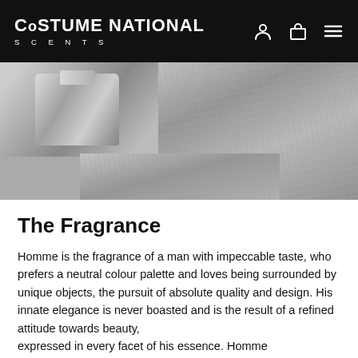CoSTUME NATIONAL SCENTS
[Figure (photo): Two overlapping black and white photos: left shows a glass perfume bottle, right shows a close-up of grey fabric texture]
The Fragrance
Homme is the fragrance of a man with impeccable taste, who prefers a neutral colour palette and loves being surrounded by unique objects, the pursuit of absolute quality and design. His innate elegance is never boasted and is the result of a refined attitude towards beauty, expressed in every facet of his essence. Homme